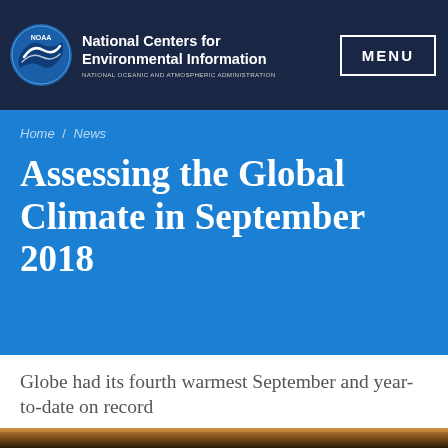National Centers for Environmental Information — NATIONAL OCEANIC AND ATMOSPHERIC ADMINISTRATION — MENU
Home / News
Assessing the Global Climate in September 2018
Globe had its fourth warmest September and year-to-date on record
[Figure (photo): Partial photo strip at bottom of page showing a dark sunset or atmospheric scene]